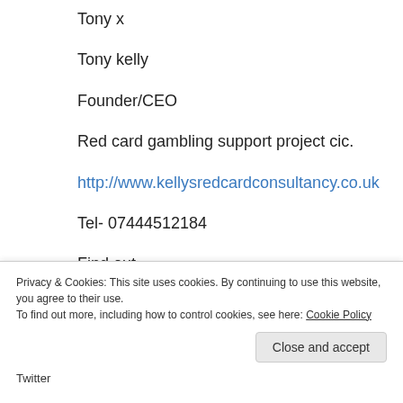Tony x
Tony kelly
Founder/CEO
Red card gambling support project cic.
http://www.kellysredcardconsultancy.co.uk
Tel- 07444512184
Find out
Privacy & Cookies: This site uses cookies. By continuing to use this website, you agree to their use.
To find out more, including how to control cookies, see here: Cookie Policy
Close and accept
Twitter